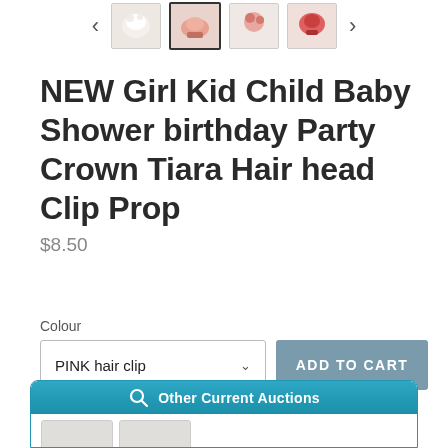[Figure (screenshot): Thumbnail navigation strip with left/right arrows and 4 product thumbnail images of hair clips/tiaras]
NEW Girl Kid Child Baby Shower birthday Party Crown Tiara Hair head Clip Prop
$8.50
Colour
PINK hair clip
ADD TO CART
[Figure (screenshot): Other Current Auctions banner with search icon and auction thumbnail images]